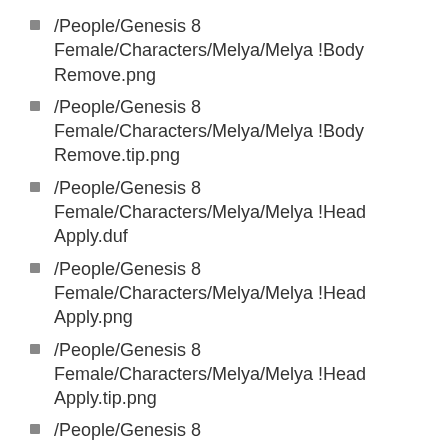/People/Genesis 8 Female/Characters/Melya/Melya !Body Remove.png
/People/Genesis 8 Female/Characters/Melya/Melya !Body Remove.tip.png
/People/Genesis 8 Female/Characters/Melya/Melya !Head Apply.duf
/People/Genesis 8 Female/Characters/Melya/Melya !Head Apply.png
/People/Genesis 8 Female/Characters/Melya/Melya !Head Apply.tip.png
/People/Genesis 8 Female/Characters/Melya/Melya !Head Remove.duf
/People/Genesis 8 Female/Characters/Melya/Melya !Head